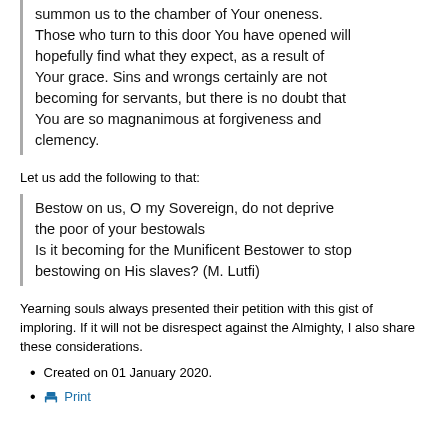summon us to the chamber of Your oneness. Those who turn to this door You have opened will hopefully find what they expect, as a result of Your grace. Sins and wrongs certainly are not becoming for servants, but there is no doubt that You are so magnanimous at forgiveness and clemency.
Let us add the following to that:
Bestow on us, O my Sovereign, do not deprive the poor of your bestowals
Is it becoming for the Munificent Bestower to stop bestowing on His slaves? (M. Lutfi)
Yearning souls always presented their petition with this gist of imploring. If it will not be disrespect against the Almighty, I also share these considerations.
Created on 01 January 2020.
Print